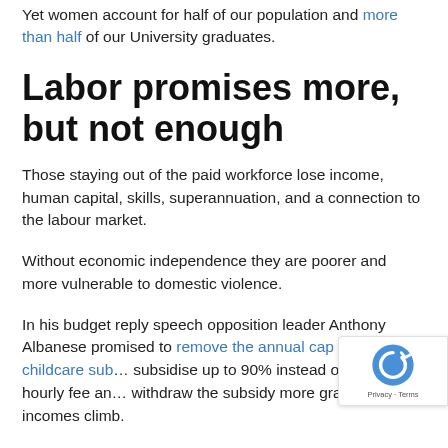Yet women account for half of our population and more than half of our University graduates.
Labor promises more, but not enough
Those staying out of the paid workforce lose income, human capital, skills, superannuation, and a connection to the labour market.
Without economic independence they are poorer and more vulnerable to domestic violence.
In his budget reply speech opposition leader Anthony Albanese promised to remove the annual cap on the childcare subsidy, subsidise up to 90% instead of 85% of the hourly fee and withdraw the subsidy more gradually as incomes climb.